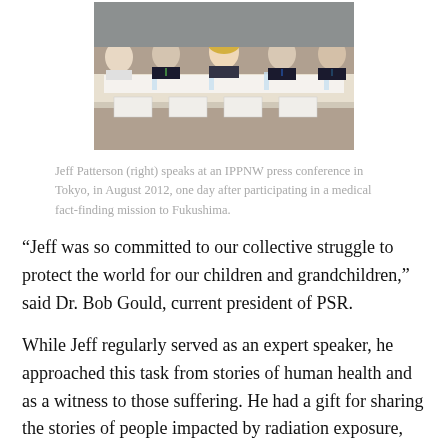[Figure (photo): Panel of people seated at a long table at a press conference, with name placards in front of them. Several people visible including a woman with blonde hair.]
Jeff Patterson (right) speaks at an IPPNW press conference in Tokyo, in August 2012, one day after participating in a medical fact-finding mission to Fukushima.
“Jeff was so committed to our collective struggle to protect the world for our children and grandchildren,” said Dr. Bob Gould, current president of PSR.
While Jeff regularly served as an expert speaker, he approached this task from stories of human health and as a witness to those suffering. He had a gift for sharing the stories of people impacted by radiation exposure, from